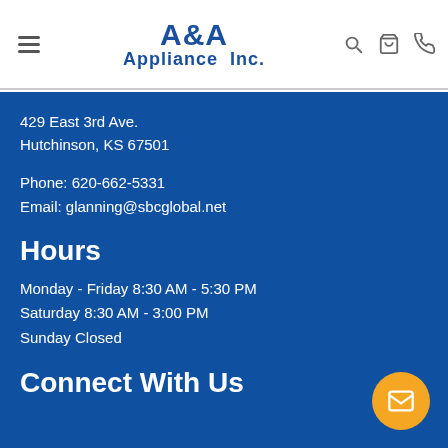A&A Appliance Inc.
429 East 3rd Ave.
Hutchinson, KS 67501
Phone: 620-662-5331
Email: glanning@sbcglobal.net
Hours
Monday - Friday 8:30 AM - 5:30 PM
Saturday 8:30 AM - 3:00 PM
Sunday Closed
Connect With Us